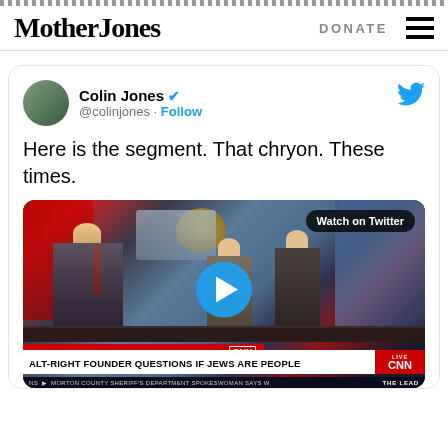Mother Jones | DONATE
[Figure (screenshot): Tweet by Colin Jones (@colinjones) with verified badge and Follow button. Tweet text: 'Here is the segment. That chryon. These times.' Contains embedded CNN video thumbnail showing anchors at a desk with lower-third chyron reading 'THE TRUMP TRANSITION' and 'ALT-RIGHT FOUNDER QUESTIONS IF JEWS ARE PEOPLE' with LIVE CNN logo. Ticker bar at bottom reads 'NS MORTON COUNTY SHERIFF'S DEPARTMENT SPOKESWOMAN SAYS W' and 'THE LEAD'. 'Watch on Twitter' pill overlay and play button visible.]